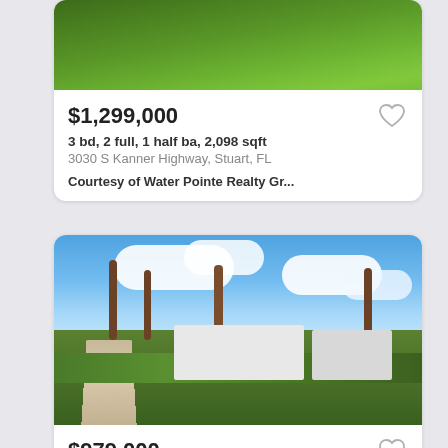[Figure (photo): Aerial/close-up photo of green lawn for property listing card]
$1,299,000
3 bd, 2 full, 1 half ba, 2,098 sqft
3030 S Kanner Highway, Stuart, FL
Courtesy of Water Pointe Realty Gr...
[Figure (photo): Exterior photo of Florida home with palm trees, blue sky, and green lawn with sidewalk path]
$979,000